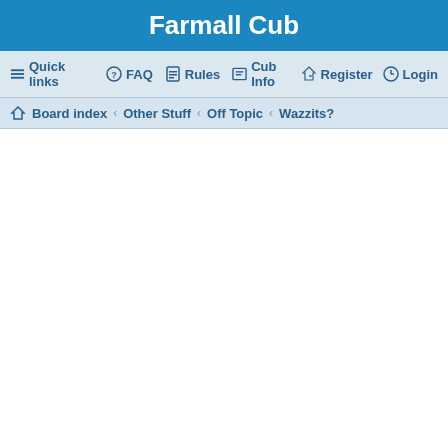Farmall Cub
Quick links  FAQ  Rules  Cub Info  Register  Login
Board index › Other Stuff › Off Topic › Wazzits?